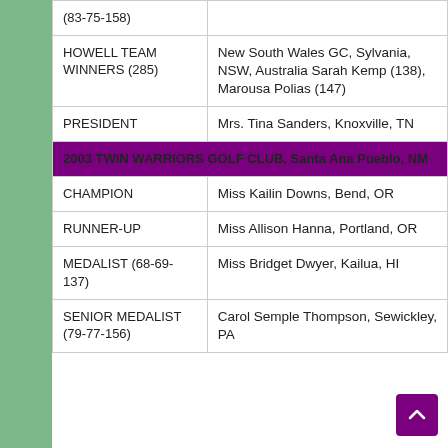| Category | Detail |
| --- | --- |
| (83-75-158) |  |
| HOWELL TEAM WINNERS (285) | New South Wales GC, Sylvania, NSW, Australia Sarah Kemp (138), Marousa Polias (147) |
| PRESIDENT | Mrs. Tina Sanders, Knoxville, TN |
| 2003 TWIN WARRIORS GOLF CLUB, Santa Ana Pueblo, NM |  |
| CHAMPION | Miss Kailin Downs, Bend, OR |
| RUNNER-UP | Miss Allison Hanna, Portland, OR |
| MEDALIST (68-69-137) | Miss Bridget Dwyer, Kailua, HI |
| SENIOR MEDALIST (79-77-156) | Carol Semple Thompson, Sewickley, PA |